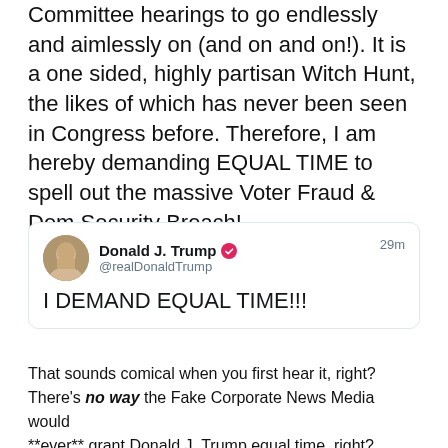Committee hearings to go endlessly and aimlessly on (and on and on!). It is a one sided, highly partisan Witch Hunt, the likes of which has never been seen in Congress before. Therefore, I am hereby demanding EQUAL TIME to spell out the massive Voter Fraud & Dem Security Breach!
[Figure (screenshot): Tweet from Donald J. Trump (@realDonaldTump) verified account, posted 29m ago. Tweet text: I DEMAND EQUAL TIME!!!]
That sounds comical when you first hear it, right? There's no way the Fake Corporate News Media would **ever** grant Donald J. Trump equal time, right?